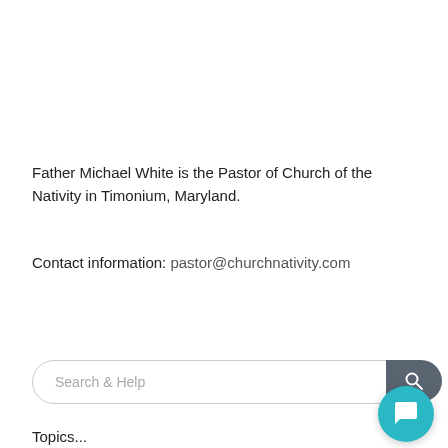Father Michael White is the Pastor of Church of the Nativity in Timonium, Maryland.
Contact information: pastor@churchnativity.com
Search Posts
Search & Help
[Figure (screenshot): Chat popup overlay with close button (×) and text: 'We are here to help make disciples! How can we pray for you today?' with a teal chat bubble button at bottom right.]
Topics...